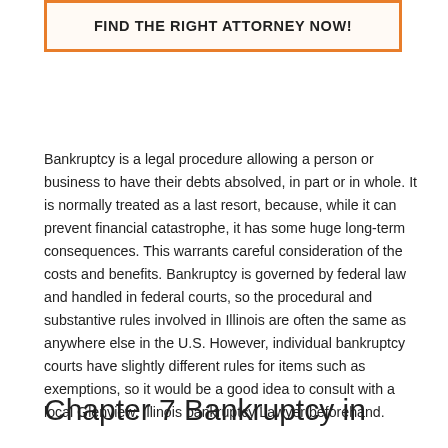FIND THE RIGHT ATTORNEY NOW!
Bankruptcy is a legal procedure allowing a person or business to have their debts absolved, in part or in whole. It is normally treated as a last resort, because, while it can prevent financial catastrophe, it has some huge long-term consequences. This warrants careful consideration of the costs and benefits. Bankruptcy is governed by federal law and handled in federal courts, so the procedural and substantive rules involved in Illinois are often the same as anywhere else in the U.S. However, individual bankruptcy courts have slightly different rules for items such as exemptions, so it would be a good idea to consult with a local Glenview, Illinois bankruptcy Lawyer beforehand.
Chapter 7 Bankruptcy in Glenview, Illinois